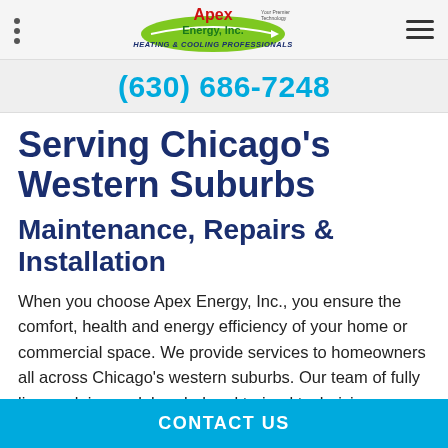Apex Energy, Inc. — Heating & Cooling Professionals (navigation bar with logo)
(630) 686-7248
Serving Chicago's Western Suburbs
Maintenance, Repairs & Installation
When you choose Apex Energy, Inc., you ensure the comfort, health and energy efficiency of your home or commercial space. We provide services to homeowners all across Chicago's western suburbs. Our team of fully licensed, insured, bonded and trained technicians can handle any need between installation, replacement and s…
CONTACT US